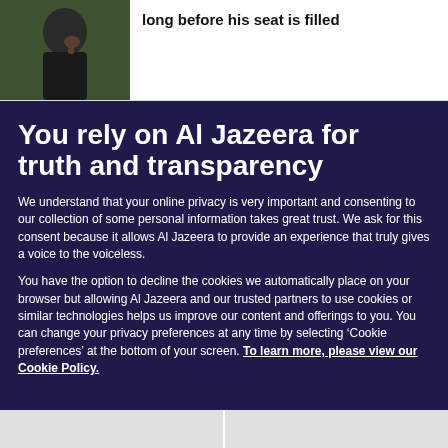[Figure (photo): Photo of a man in dark clothing, appearing to be in an outdoor setting with green background, partially cropped at top-left of page]
long before his seat is filled
You rely on Al Jazeera for truth and transparency
We understand that your online privacy is very important and consenting to our collection of some personal information takes great trust. We ask for this consent because it allows Al Jazeera to provide an experience that truly gives a voice to the voiceless.
You have the option to decline the cookies we automatically place on your browser but allowing Al Jazeera and our trusted partners to use cookies or similar technologies helps us improve our content and offerings to you. You can change your privacy preferences at any time by selecting ‘Cookie preferences’ at the bottom of your screen. To learn more, please view our Cookie Policy.